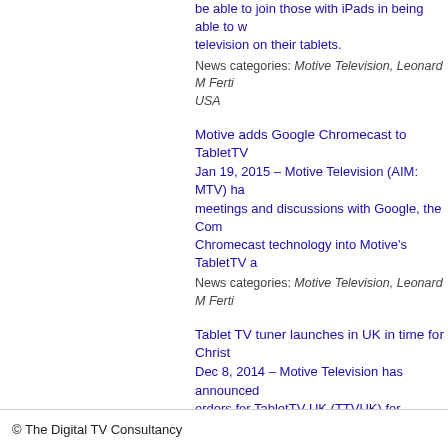be able to join those with iPads in being able to watch television on their tablets.
News categories: Motive Television, Leonard M Ferti... USA
Motive adds Google Chromecast to TabletTV
Jan 19, 2015 – Motive Television (AIM: MTV) ha... meetings and discussions with Google, the Com... Chromecast technology into Motive's TabletTV a...
News categories: Motive Television, Leonard M Ferti...
Tablet TV tuner launches in UK in time for Christ...
Dec 8, 2014 – Motive Television has announced orders for TabletTV UK (TTVUK) for Christmas d... possible for viewers to watch over-the-air Freevi... device.
News categories: Motive Television, TabletTV UK, Le... Peripherals / Accessories, Set Top Box, Terrestrial, T...
Siyaya awarded broadcasting licence in South A...
Nov 19, 2014 – Motive Television has said that is... To Air TV of South Africa that Siyaya has receive... advising that Siyaya TV has fully met ICASA's lic...
News categories: Motive Television, ICASA, Leonard... Africa
« Older Items
© The Digital TV Consultancy